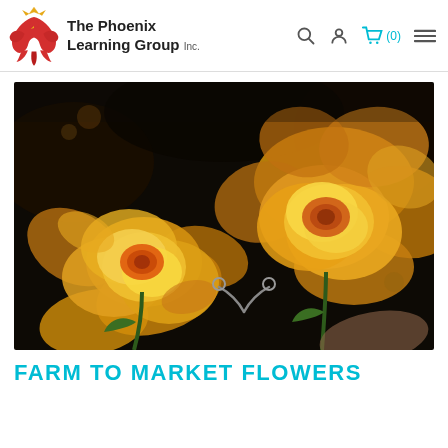The Phoenix Learning Group Inc.
[Figure (photo): Close-up photograph of two yellow-orange roses against a dark background]
FARM TO MARKET FLOWERS